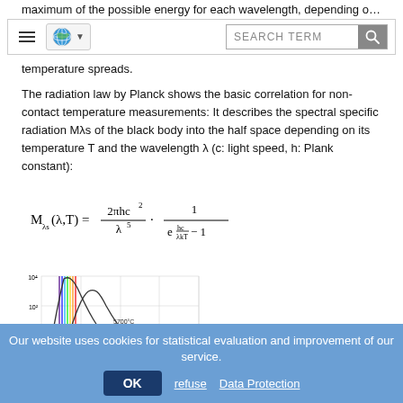maximum of the possible energy for each wavelength, depending on its temperature spreads.
Navigation bar with hamburger menu, globe icon, and SEARCH TERM input
temperature spreads.
The radiation law by Planck shows the basic correlation for non-contact temperature measurements: It describes the spectral specific radiation Mλs of the black body into the half space depending on its temperature T and the wavelength λ (c: light speed, h: Plank constant):
[Figure (continuous-plot): Planck radiation curves showing spectral radiance vs wavelength for temperatures 5700°C, 2700°C, and 500°C on a log scale (y-axis: 10^-2 to 10^4), with colored vertical lines indicating visible spectrum.]
Our website uses cookies for statistical evaluation and improvement of our service.